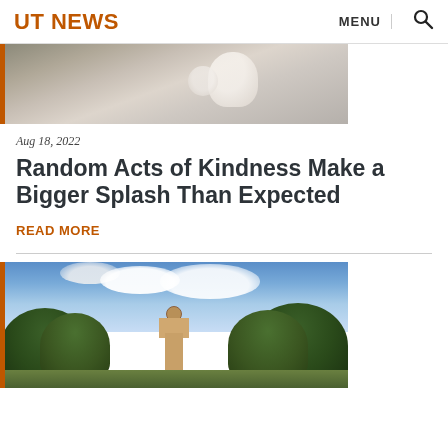UT NEWS
[Figure (photo): Close-up photo of hands holding a cup/mug on a table, partially visible at top of page]
Aug 18, 2022
Random Acts of Kindness Make a Bigger Splash Than Expected
READ MORE
[Figure (photo): Outdoor campus photo showing the UT Austin tower visible through large oak trees against a blue cloudy sky]